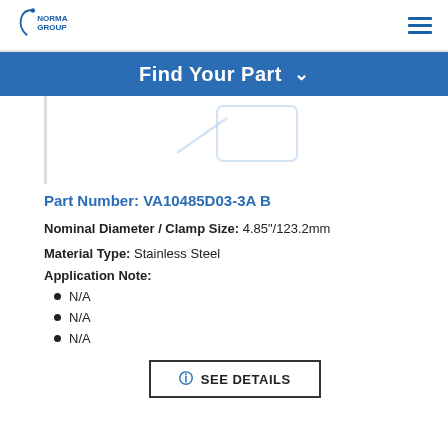NORMA GROUP
Find Your Part
[Figure (illustration): Faded blue partial outline of a clamp/part product image]
Part Number: VA10485D03-3A B
Nominal Diameter / Clamp Size: 4.85"/123.2mm
Material Type: Stainless Steel
Application Note:
N/A
N/A
N/A
SEE DETAILS